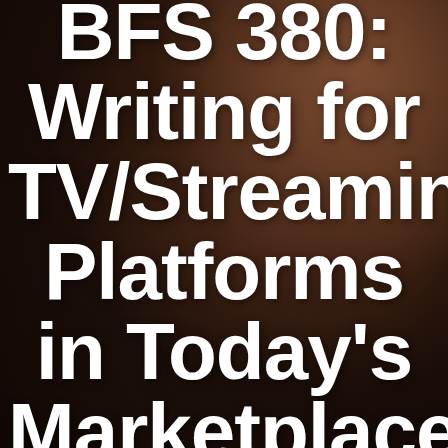[Figure (photo): Close-up photo of a dark-skinned man's face in low-key lighting, appearing contemplative, with dark brown tones throughout]
BFS 380: Writing for TV/Streaming Platforms in Today's Marketplace